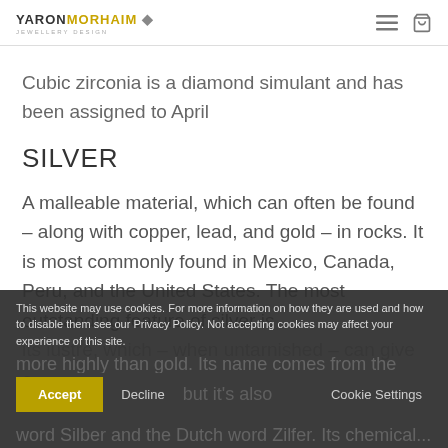YARON MORHAIM JEWELLERY DESIGN
Cubic zirconia is a diamond simulant and has been assigned to April
SILVER
A malleable material, which can often be found – along with copper, lead, and gold – in rocks. It is most commonly found in Mexico, Canada, Peru, and the United States. The most outstanding feature of silver is its lustre, which – when untarnished – can give a ... more highly than gold. Its name comes from the Anglo-Saxon word Seolfor, but it's also related to the German word Silber and the Dutch word Zilfer. Its chemical...
This website may use cookies. For more information on how they are used and how to disable them see our Privacy Policy. Not accepting cookies may affect your experience of this site.